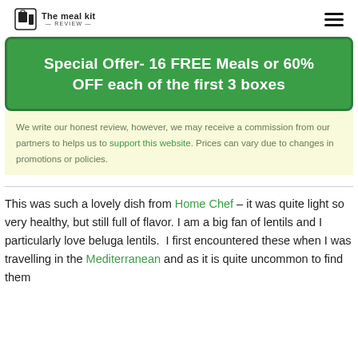The meal kit REVIEW
Special Offer- 16 FREE Meals or 60% OFF each of the first 3 boxes
We write our honest review, however, we may receive a commission from our partners to helps us to support this website. Prices can vary due to changes in promotions or policies.
This was such a lovely dish from Home Chef – it was quite light so very healthy, but still full of flavor. I am a big fan of lentils and I particularly love beluga lentils.  I first encountered these when I was travelling in the Mediterranean and as it is quite uncommon to find them